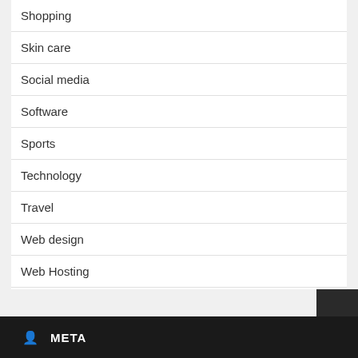Shopping
Skin care
Social media
Software
Sports
Technology
Travel
Web design
Web Hosting
wedding
META